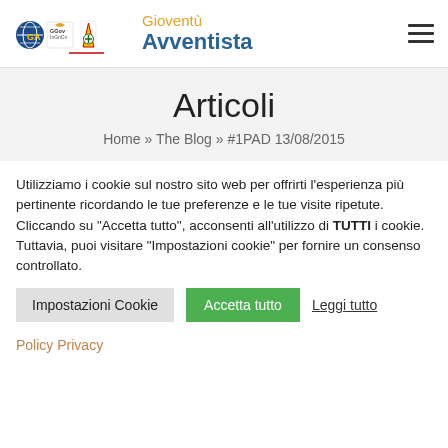Gioventù Avventista
Articoli
Home » The Blog » #1PAD 13/08/2015
Utilizziamo i cookie sul nostro sito web per offrirti l'esperienza più pertinente ricordando le tue preferenze e le tue visite ripetute. Cliccando su "Accetta tutto", acconsenti all'utilizzo di TUTTI i cookie. Tuttavia, puoi visitare "Impostazioni cookie" per fornire un consenso controllato.
Impostazioni Cookie | Accetta tutto | Leggi tutto
Policy Privacy